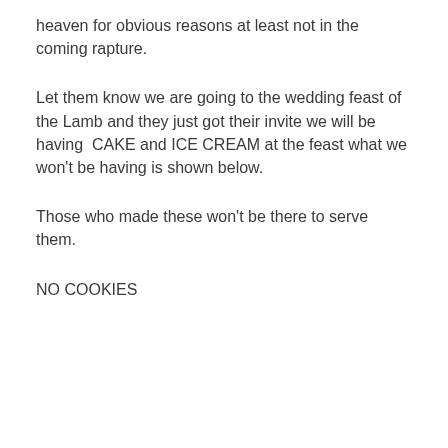heaven for obvious reasons at least not in the coming rapture.
Let them know we are going to the wedding feast of the Lamb and they just got their invite we will be having  CAKE and ICE CREAM at the feast what we won't be having is shown below.
Those who made these won't be there to serve them.
NO COOKIES